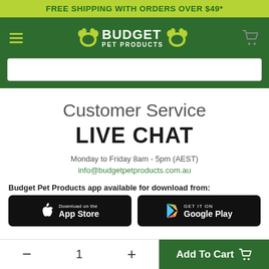FREE SHIPPING WITH ORDERS OVER $49*
[Figure (logo): Budget Pet Products logo with paw prints and hamburger menu, search bar below]
Customer Service
LIVE CHAT
Monday to Friday 8am - 5pm (AEST)
info@budgetpetproducts.com.au
Budget Pet Products app available for download from:
[Figure (screenshot): App store download badges - Apple App Store and Google Play Store buttons]
- 1 + Add To Cart